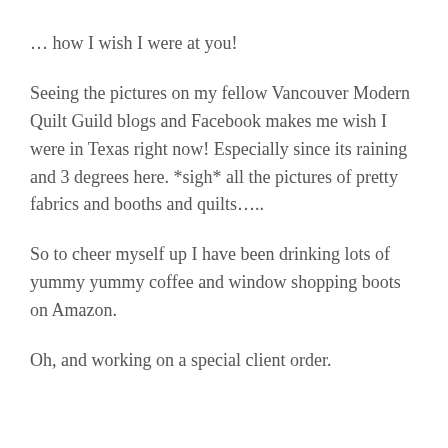… how I wish I were at you!
Seeing the pictures on my fellow Vancouver Modern Quilt Guild blogs and Facebook makes me wish I were in Texas right now! Especially since its raining and 3 degrees here. *sigh* all the pictures of pretty fabrics and booths and quilts…..
So to cheer myself up I have been drinking lots of yummy yummy coffee and window shopping boots on Amazon.
Oh, and working on a special client order.